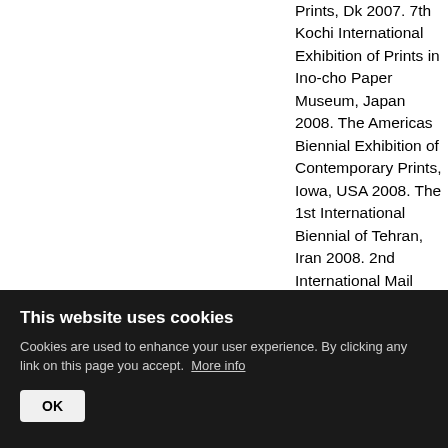Prints, Dk 2007. 7th Kochi International Exhibition of Prints in Ino-cho Paper Museum, Japan 2008. The Americas Biennial Exhibition of Contemporary Prints, Iowa, USA 2008. The 1st International Biennial of Tehran, Iran 2008. 2nd International Mail
This website uses cookies
Cookies are used to enhance your user experience. By clicking any link on this page you accept. More info
OK